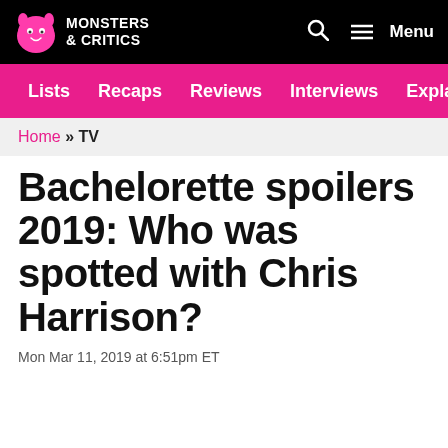MONSTERS & CRITICS
Lists  Recaps  Reviews  Interviews  Explainers
Home » TV
Bachelorette spoilers 2019: Who was spotted with Chris Harrison?
Mon Mar 11, 2019 at 6:51pm ET